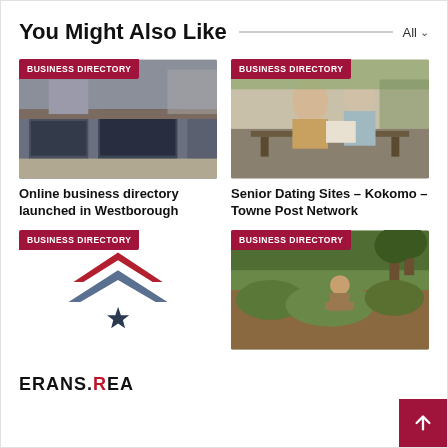You Might Also Like
[Figure (photo): Storefront street view with retail shops, business directory card image]
[Figure (photo): Two senior people sitting on a bench looking at a map or tablet, business directory card image]
Online business directory launched in Westborough
Senior Dating Sites – Kokomo – Towne Post Network
[Figure (logo): ERANS.REA logo with chevron arrows and star, business directory card image]
[Figure (photo): Person planting or working in a green field, business directory card image]